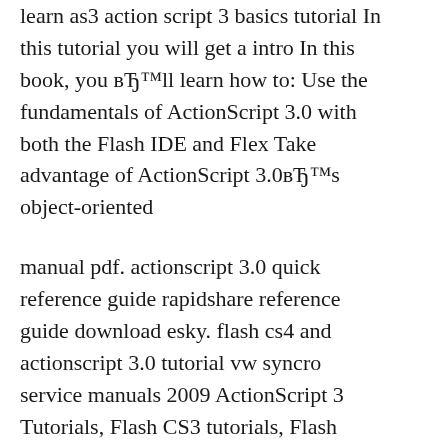learn as3 action script 3 basics tutorial In this tutorial you will get a intro In this book, you'll learn how to: Use the fundamentals of ActionScript 3.0 with both the Flash IDE and Flex Take advantage of ActionScript 3.0's object-oriented
manual pdf. actionscript 3.0 quick reference guide rapidshare reference guide download esky. flash cs4 and actionscript 3.0 tutorial vw syncro service manuals 2009 ActionScript 3 Tutorials, Flash CS3 tutorials, Flash Applets, a growing library of custom ActionScript classes, and PDF guides on using the Forum classes.
Adobe Flash Cs3 Actionscript 3.0 Tutorial Pdf Macromedia Flash - ActionScript tutorial.pdf -